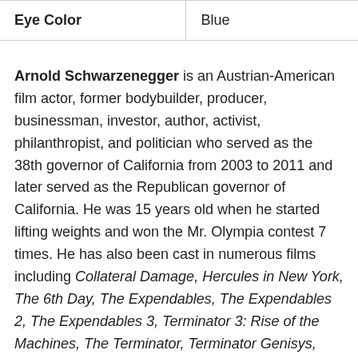| Eye Color | Blue |
| --- | --- |
Arnold Schwarzenegger is an Austrian-American film actor, former bodybuilder, producer, businessman, investor, author, activist, philanthropist, and politician who served as the 38th governor of California from 2003 to 2011 and later served as the Republican governor of California. He was 15 years old when he started lifting weights and won the Mr. Olympia contest 7 times. He has also been cast in numerous films including Collateral Damage, Hercules in New York, The 6th Day, The Expendables, The Expendables 2, The Expendables 3, Terminator 3: Rise of the Machines, The Terminator, Terminator Genisys, Batman & Robin, The Last Stand, Pumping Iron, Escape Plan, Terminator: Dark Fate, Jingle All the Way, Conan the Barbarian, Total Recall, Commando, Conan the Destroyer, Twins, Last Action Hero,